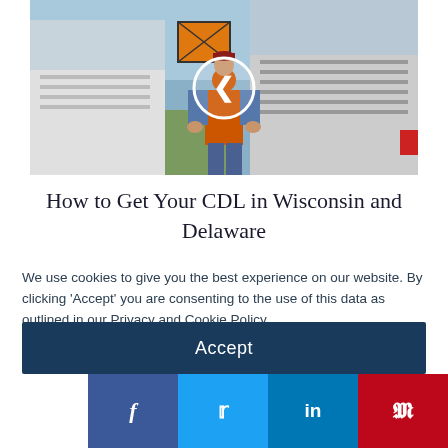[Figure (photo): A man in an orange vest and cap standing in front of a large truck, with a navigation/back arrow circle overlay on the image]
How to Get Your CDL in Wisconsin and Delaware
We use cookies to give you the best experience on our website. By clicking 'Accept' you are consenting to the use of this data as outlined in our Privacy and Cookie Policy.
Accept
f  t  in  p